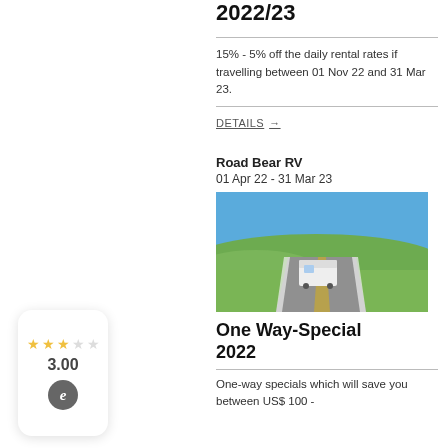2022/23
15% - 5% off the daily rental rates if travelling between 01 Nov 22 and 31 Mar 23.
DETAILS →
Road Bear RV
01 Apr 22 - 31 Mar 23
[Figure (photo): An RV driving on a highway through open green fields under a blue sky]
One Way-Special 2022
One-way specials which will save you between US$ 100 -